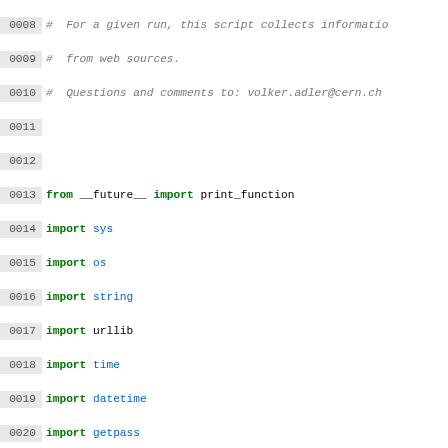Code listing showing Python script imports and constants, lines 0008-0038